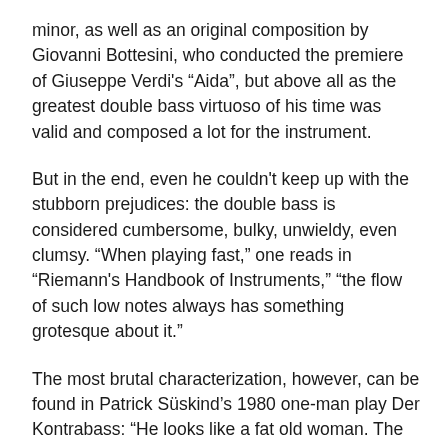minor, as well as an original composition by Giovanni Bottesini, who conducted the premiere of Giuseppe Verdi's “Aida”, but above all as the greatest double bass virtuoso of his time was valid and composed a lot for the instrument.
But in the end, even he couldn't keep up with the stubborn prejudices: the double bass is considered cumbersome, bulky, unwieldy, even clumsy. “When playing fast,” one reads in “Riemann's Handbook of Instruments,” “the flow of such low notes always has something grotesque about it.”
The most brutal characterization, however, can be found in Patrick Süskind’s 1980 one-man play Der Kontrabass: “He looks like a fat old woman. The hips too low, the waist totally crashed; and then those narrow, drooping, rickety shoulders – to drive you crazy.”